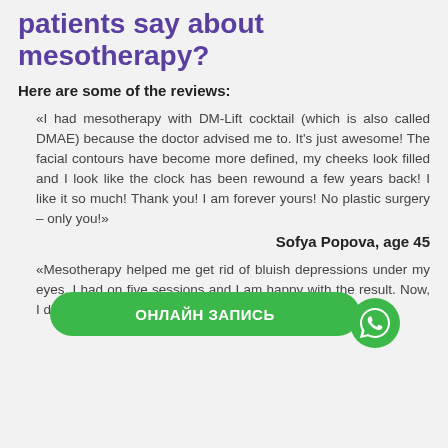patients say about mesotherapy?
Here are some of the reviews:
«I had mesotherapy with DM-Lift cocktail (which is also called DMAE) because the doctor advised me to. It's just awesome! The facial contours have become more defined, my cheeks look filled and I look like the clock has been rewound a few years back! I like it so much! Thank you! I am forever yours! No plastic surgery – only you!»
Sofya Popova, age 45
«Mesotherapy helped me get rid of bluish depressions under my eyes. I had on five sessions and I am happy with the result. Now, I don't even have to apply foundation before going out.»
[Figure (other): Green rounded button with text ОНЛАЙН ЗАПИСЬ (online appointment) and WhatsApp icon overlay]